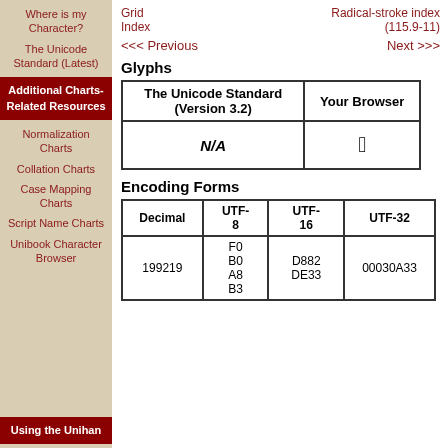Where is my Character?
The Unicode Standard (Latest)
Additional Charts-Related Resources
Normalization Charts
Collation Charts
Case Mapping Charts
Script Name Charts
Unibook Character Browser
Using the Unihan
Grid Index    Radical-stroke index (115.9-11)
<<< Previous    Next >>>
Glyphs
| The Unicode Standard (Version 3.2) | Your Browser |
| --- | --- |
| N/A | ☐ |
Encoding Forms
| Decimal | UTF-8 | UTF-16 | UTF-32 |
| --- | --- | --- | --- |
| 199219 | F0 B0 A8 B3 | D882 DE33 | 00030A33 |